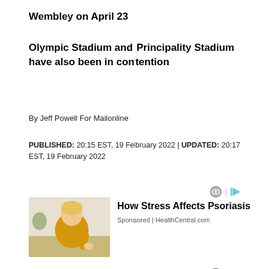Wembley on April 23
Olympic Stadium and Principality Stadium have also been in contention
By Jeff Powell For Mailonline
PUBLISHED: 20:15 EST, 19 February 2022 | UPDATED: 20:17 EST, 19 February 2022
[Figure (infographic): Ad: How Stress Affects Psoriasis – image of woman in yellow sweater scratching arm, Sponsored | HealthCentral.com]
[Figure (infographic): Ad: How Stress Affects Psoriasis – second instance, image of woman in yellow sweater]
Wembley Stadium is now the firm favourite to stage Tyson Fury's world heavyweight championship home